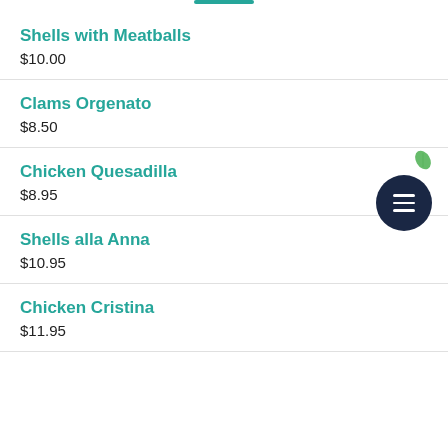Shells with Meatballs
$10.00
Clams Orgenato
$8.50
Chicken Quesadilla
$8.95
Shells alla Anna
$10.95
Chicken Cristina
$11.95